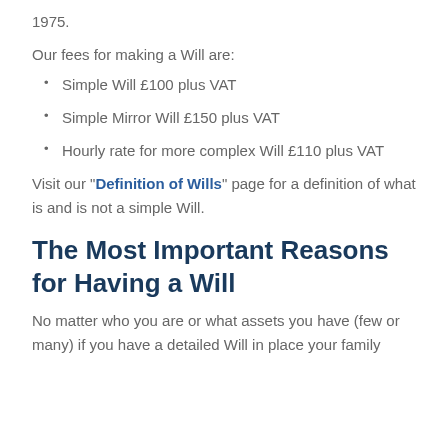1975.
Our fees for making a Will are:
Simple Will £100 plus VAT
Simple Mirror Will £150 plus VAT
Hourly rate for more complex Will £110 plus VAT
Visit our "Definition of Wills" page for a definition of what is and is not a simple Will.
The Most Important Reasons for Having a Will
No matter who you are or what assets you have (few or many) if you have a detailed Will in place your family